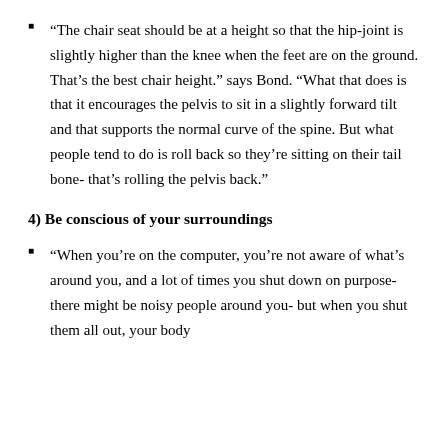“The chair seat should be at a height so that the hip-joint is slightly higher than the knee when the feet are on the ground. That’s the best chair height.” says Bond. “What that does is that it encourages the pelvis to sit in a slightly forward tilt and that supports the normal curve of the spine. But what people tend to do is roll back so they’re sitting on their tail bone- that’s rolling the pelvis back.”
4) Be conscious of your surroundings
“When you’re on the computer, you’re not aware of what’s around you, and a lot of times you shut down on purpose- there might be noisy people around you- but when you shut them all out, your body